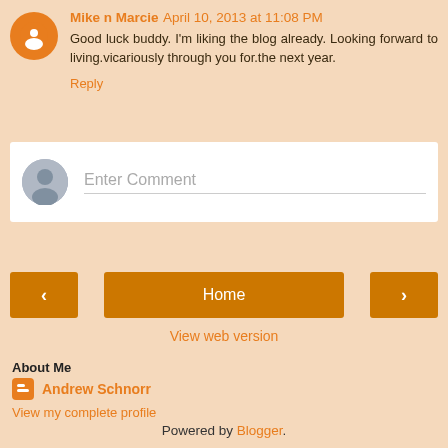Mike n Marcie April 10, 2013 at 11:08 PM
Good luck buddy. I'm liking the blog already. Looking forward to living.vicariously through you for.the next year.
Reply
Enter Comment
[Figure (illustration): Navigation buttons: left arrow, Home center button, right arrow]
View web version
About Me
Andrew Schnorr
View my complete profile
Powered by Blogger.